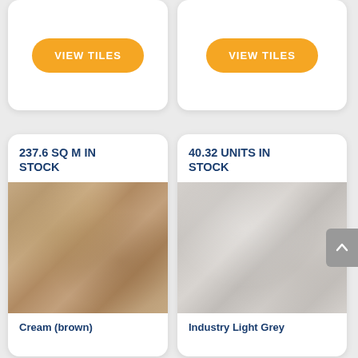[Figure (screenshot): Orange 'VIEW TILES' button on white card (top left)]
[Figure (screenshot): Orange 'VIEW TILES' button on white card (top right)]
237.6 SQ M IN STOCK
[Figure (photo): Cream brown tile texture]
Cream (brown)
40.32 UNITS IN STOCK
[Figure (photo): Industry Light Grey tile texture]
Industry Light Grey